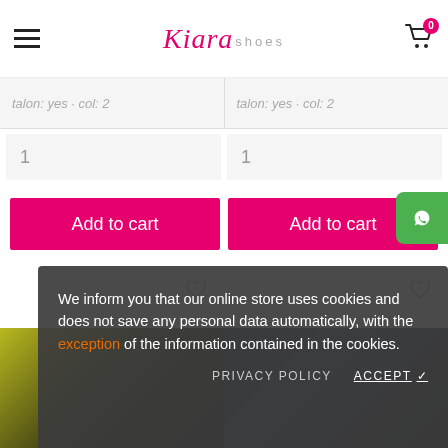Kiara shoes — online store header with hamburger menu and cart (0 items)
1
1
Add to cart
Add to cart
[Figure (screenshot): Two high-heel shoes partially visible at bottom]
We inform you that our online store uses cookies and does not save any personal data automatically, with the exception of the information contained in the cookies.
PRIVACY POLICY  ACCEPT ✓